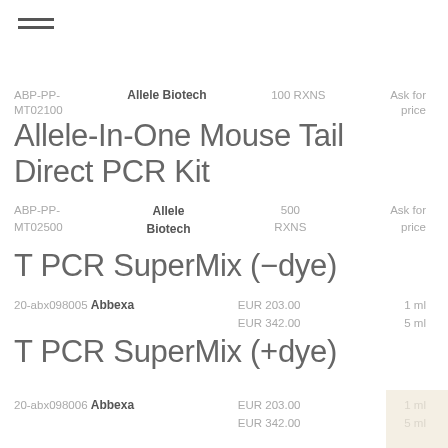[Figure (other): Hamburger/menu icon with two horizontal bars]
ABP-PP-MT02100 | Allele Biotech | 100 RXNS | Ask for price
Allele-In-One Mouse Tail Direct PCR Kit
ABP-PP-MT02500 | Allele Biotech | 500 RXNS | Ask for price
T PCR SuperMix (-dye)
20-abx098005 | Abbexa | EUR 203.00 / 1 ml | EUR 342.00 / 5 ml
T PCR SuperMix (+dye)
20-abx098006 | Abbexa | EUR 203.00 / 1 ml | EUR 342.00 / 5 ml